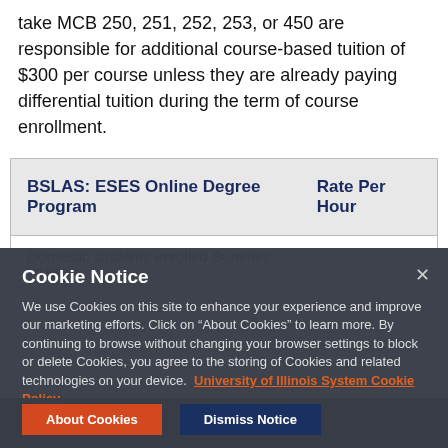take MCB 250, 251, 252, 253, or 450 are responsible for additional course-based tuition of $300 per course unless they are already paying differential tuition during the term of course enrollment.
| BSLAS: ESES Online Degree Program | Rate Per Hour |
| --- | --- |
| [partially visible row] |  |
Cookie Notice
We use Cookies on this site to enhance your experience and improve our marketing efforts. Click on “About Cookies” to learn more. By continuing to browse without changing your browser settings to block or delete Cookies, you agree to the storing of Cookies and related technologies on your device. University of Illinois System Cookie Policy